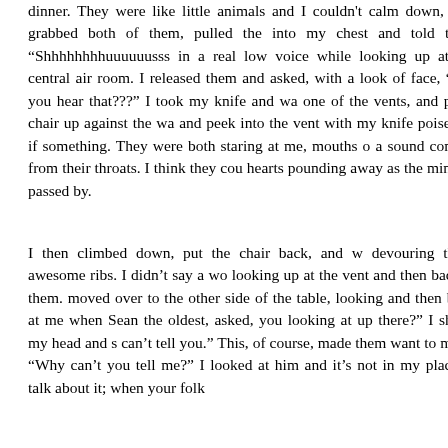dinner. They were like little animals and I couldn't calm down, so I grabbed both of them, pulled them into my chest and told them "Shhhhhhhhuuuuuusss" in a real low voice while looking up at the central air room. I released them and asked, with a look of face, "Did you hear that???" I took my knife and was one of the vents, and put a chair up against the wall and peek into the vent with my knife poised as if something. They were both staring at me, mouths open a sound coming from their throats. I think they could hearts pounding away as the minutes passed by.
I then climbed down, put the chair back, and we devouring those awesome ribs. I didn't say a word looking up at the vent and then back at them. moved over to the other side of the table, looking up and then back at me when Sean the oldest, asked, "What you looking at up there?" I shook my head and said "I can't tell you." This, of course, made them want to know more. "Why can't you tell me?" I looked at him and said it's not in my place to talk about it; when your folk